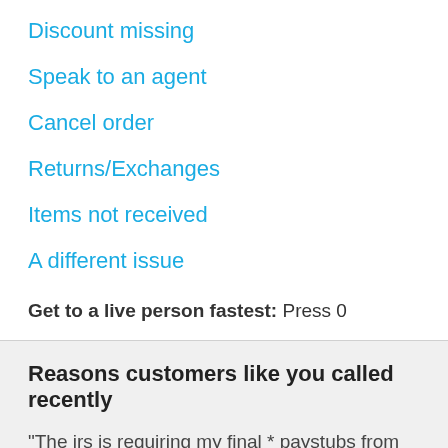Discount missing
Speak to an agent
Cancel order
Returns/Exchanges
Items not received
A different issue
Get to a live person fastest: Press 0
Reasons customers like you called recently
"The irs is requiring my final * paystubs from OD. Au...
"Customer service at the store"